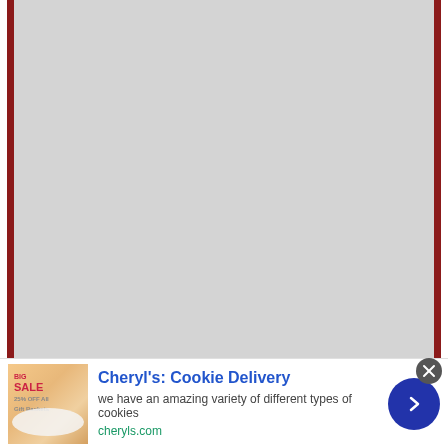[Figure (other): Large gray placeholder image area with dark red/maroon vertical borders on left and right sides]
[Figure (illustration): Advertisement image showing cookies and a sale sign for Cheryl's Cookie Delivery]
Cheryl's: Cookie Delivery
we have an amazing variety of different types of cookies
cheryls.com